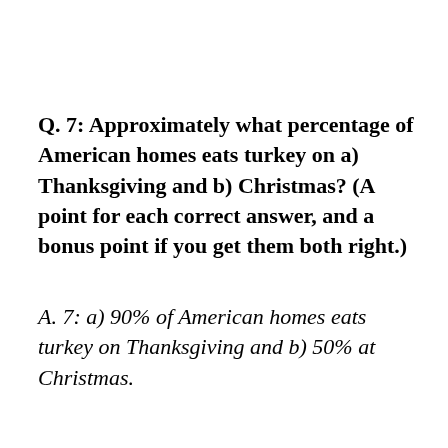Q.  7:  Approximately what percentage of American homes eats turkey on a) Thanksgiving and b) Christmas? (A point for each correct answer, and a bonus point if you get them both right.)
A.  7:  a) 90% of American homes eats turkey on Thanksgiving and b) 50% at Christmas.